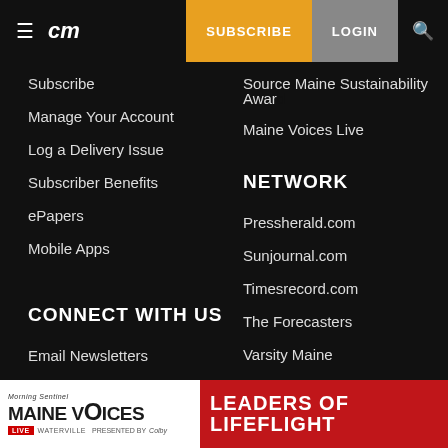≡  cm  SUBSCRIBE  LOGIN  🔍
Subscribe
Manage Your Account
Log a Delivery Issue
Subscriber Benefits
ePapers
Mobile Apps
CONNECT WITH US
Email Newsletters
Facebook
Twitter
Source Maine Sustainability Award
Maine Voices Live
NETWORK
Pressherald.com
Sunjournal.com
Timesrecord.com
The Forecasters
Varsity Maine
[Figure (screenshot): Maine Voices Live Leaders of Lifeflight advertisement banner]